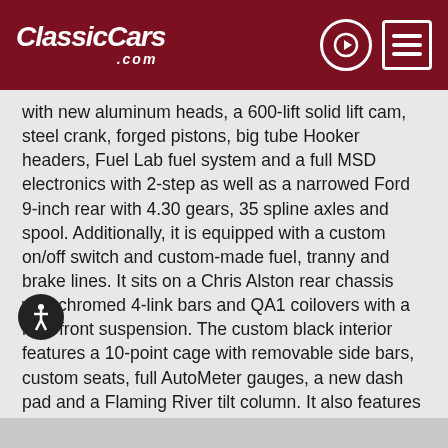ClassicCars.com
with new aluminum heads, a 600-lift solid lift cam, steel crank, forged pistons, big tube Hooker headers, Fuel Lab fuel system and a full MSD electronics with 2-step as well as a narrowed Ford 9-inch rear with 4.30 gears, 35 spline axles and spool. Additionally, it is equipped with a custom on/off switch and custom-made fuel, tranny and brake lines. It sits on a Chris Alston rear chassis with chromed 4-link bars and QA1 coilovers with a new front suspension. The custom black interior features a 10-point cage with removable side bars, custom seats, full AutoMeter gauges, a new dash pad and a Flaming River tilt column. It also features new chrome and decals as well as a custom wheel package.